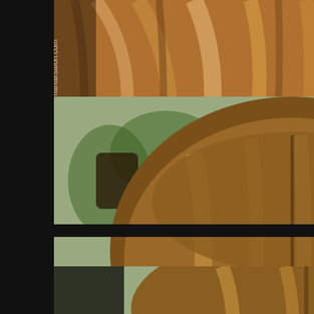[Figure (photo): Close-up photo of a woman's straight, highlighted auburn/golden brown hair viewed from the side/back, with text watermark partially visible reading 'mahairsalon.com']
[Figure (photo): Photo of a woman's bob hairstyle viewed from behind, showing warm brown with caramel highlights. A salon mirror reflects a woman in a black top. Watermark reads 'www.yokohamahairsalon.com']
[Figure (photo): Photo of a bob hairstyle viewed from behind with brown tones and highlights, partially visible at bottom of page]